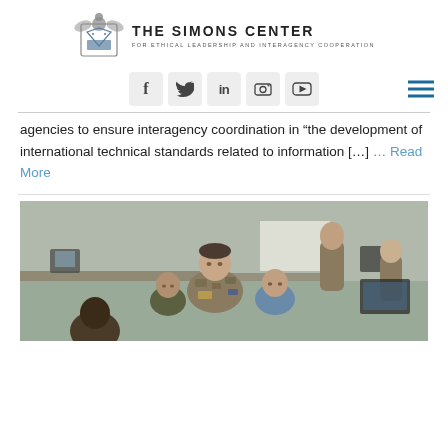[Figure (logo): The Simons Center for Ethical Leadership and Interagency Cooperation logo with eagle crest and organization name]
[Figure (other): Social media navigation bar with icons for Facebook, Twitter, LinkedIn, Flickr, YouTube, and a hamburger menu]
agencies to ensure interagency coordination in “the development of international technical standards related to information [...] ... Read More
[Figure (photo): Military personnel in camouflage uniforms working at computer stations in an office environment, with a senior officer leaning over to assist seated personnel]